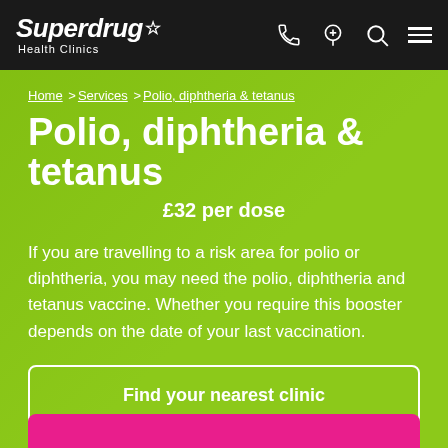Superdrug Health Clinics
Home > Services > Polio, diphtheria & tetanus
Polio, diphtheria & tetanus
£32 per dose
If you are travelling to a risk area for polio or diphtheria, you may need the polio, diphtheria and tetanus vaccine. Whether you require this booster depends on the date of your last vaccination.
Find your nearest clinic